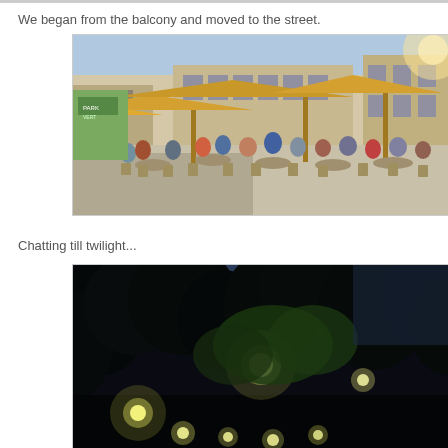We began from the balcony and moved to the street.
[Figure (photo): Outdoor street cafe scene in daytime with large yellow umbrellas, many people seated at tables, and European-style buildings in the background.]
Chatting till twilight...
[Figure (photo): Night scene looking up through dark tree silhouettes at street lamps glowing against a dark sky, with multiple warm light globes visible among the branches.]